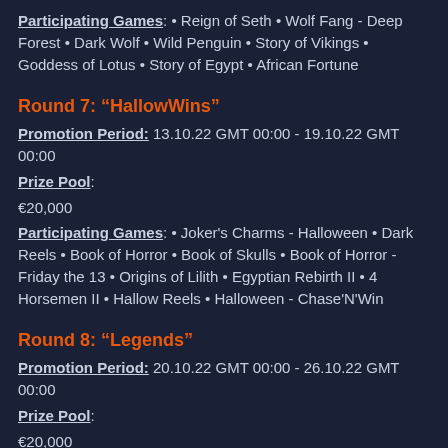Participating Games: • Reign of Seth • Wolf Fang - Deep Forest • Dark Wolf • Wild Penguin • Story of Vikings • Goddess of Lotus • Story of Egypt • African Fortune
Round 7: “HallowWins”
Promotion Period: 13.10.22 GMT 00:00 - 19.10.22 GMT 00:00
Prize Pool:
€20,000
Participating Games: • Joker's Charms - Halloween • Dark Reels • Book of Horror • Book of Skulls • Book of Horror - Friday the 13 • Origins of Lilith • Egyptian Rebirth II • 4 Horsemen II • Hallow Reels • Halloween - Chase'N'Win
Round 8: “Legends”
Promotion Period: 20.10.22 GMT 00:00 - 26.10.22 GMT 00:00
Prize Pool:
€20,000